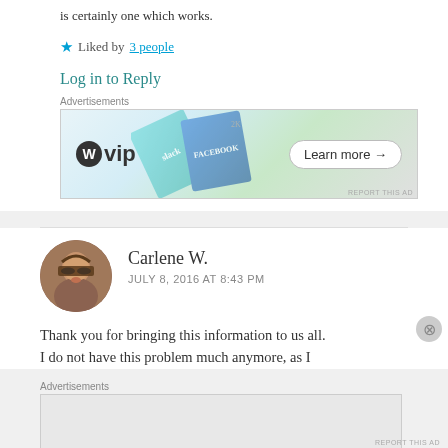is certainly one which works.
★ Liked by 3 people
Log in to Reply
[Figure (screenshot): WordPress VIP advertisement banner with WP logo, colorful book/card images, and 'Learn more →' button]
Carlene W.
JULY 8, 2016 AT 8:43 PM
[Figure (photo): Circular avatar photo of Carlene W., a woman with glasses and brown hair]
Thank you for bringing this information to us all. I do not have this problem much anymore, as I
Advertisements